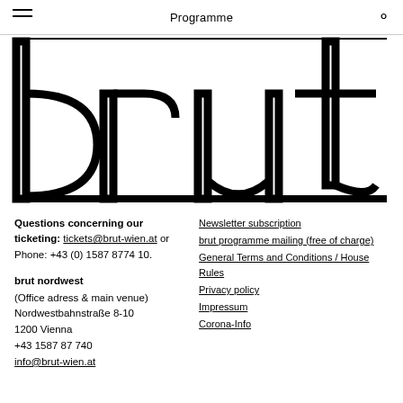Programme
[Figure (logo): brut logo in large outlined letters: 'brut']
Questions concerning our ticketing: tickets@brut-wien.at or Phone: +43 (0) 1587 8774 10.
brut nordwest
(Office adress & main venue)
Nordwestbahnstraße 8-10
1200 Vienna
+43 1587 87 740
info@brut-wien.at
Newsletter subscription
brut programme mailing (free of charge)
General Terms and Conditions / House Rules
Privacy policy
Impressum
Corona-Info